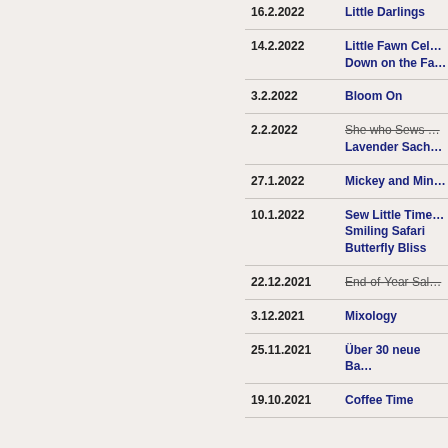| Date | Name |
| --- | --- |
| 16.2.2022 | Little Darlings |
| 14.2.2022 | Little Fawn Cel… / Down on the Fa… |
| 3.2.2022 | Bloom On |
| 2.2.2022 | She who Sews (strikethrough) / Lavender Sach… |
| 27.1.2022 | Mickey and Min… |
| 10.1.2022 | Sew Little Time… / Smiling Safari / Butterfly Bliss |
| 22.12.2021 | End-of-Year Sal… (strikethrough) |
| 3.12.2021 | Mixology |
| 25.11.2021 | Über 30 neue Ba… |
| 19.10.2021 | Coffee Time |